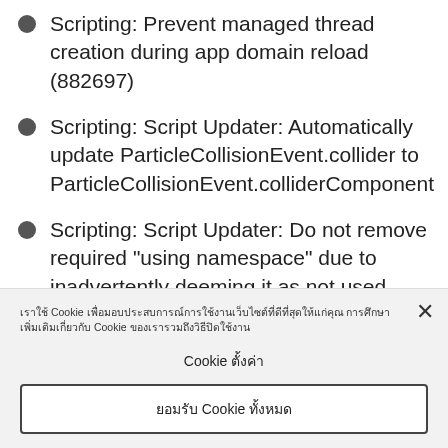Scripting: Prevent managed thread creation during app domain reload (882697)
Scripting: Script Updater: Automatically update ParticleCollisionEvent.collider to ParticleCollisionEvent.colliderComponent
Scripting: Script Updater: Do not remove required "using namespace" due to inadvertently deeming it as not used
Cookie notice overlay with Thai text and cookie settings/accept buttons